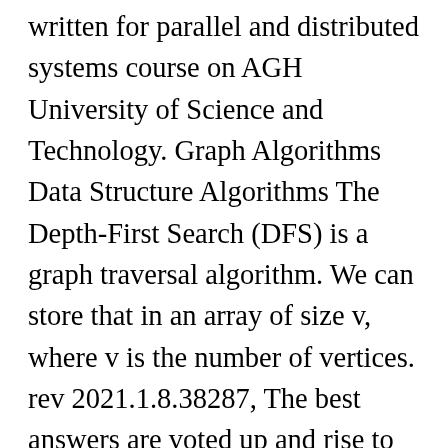written for parallel and distributed systems course on AGH University of Science and Technology. Graph Algorithms Data Structure Algorithms The Depth-First Search (DFS) is a graph traversal algorithm. We can store that in an array of size v, where v is the number of vertices. rev 2021.1.8.38287, The best answers are voted up and rise to the top, Computer Science Stack Exchange works best with JavaScript enabled, Start here for a quick overview of the site, Detailed answers to any questions you might have, Discuss the workings and policies of this site, Learn more about Stack Overflow the company, Learn more about hiring developers or posting ads with us. But, as remarked above, this program